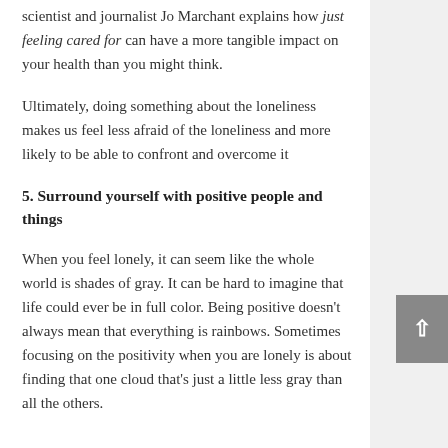scientist and journalist Jo Marchant explains how just feeling cared for can have a more tangible impact on your health than you might think.
Ultimately, doing something about the loneliness makes us feel less afraid of the loneliness and more likely to be able to confront and overcome it
5. Surround yourself with positive people and things
When you feel lonely, it can seem like the whole world is shades of gray. It can be hard to imagine that life could ever be in full color. Being positive doesn't always mean that everything is rainbows. Sometimes focusing on the positivity when you are lonely is about finding that one cloud that's just a little less gray than all the others.